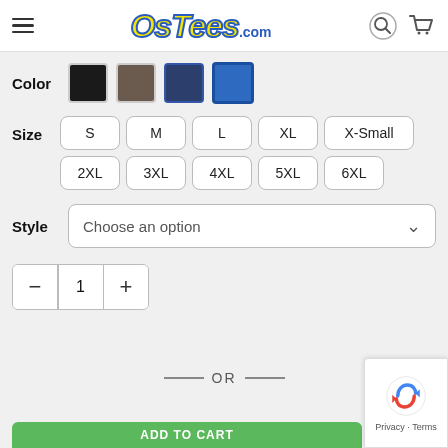OsTees.com
Color
Size: S M L XL X-Small 2XL 3XL 4XL 5XL 6XL
Style: Choose an option
Quantity: - 1 +
— OR —